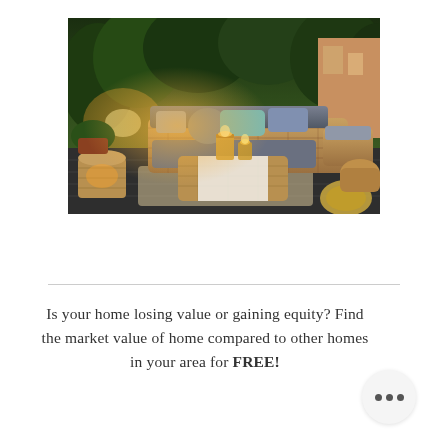[Figure (photo): Outdoor patio with wicker sectional sofa with gray cushions, teal and blue accent pillows, a wicker coffee table with white table runner and candle lanterns, surrounded by lush green trees and plants in evening warm lighting on a dark wood deck with a jute rug.]
Is your home losing value or gaining equity? Find the market value of home compared to other homes in your area for FREE!